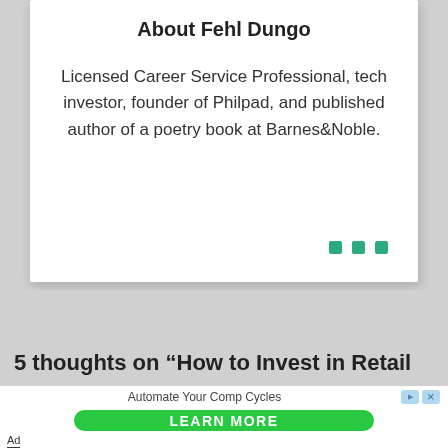About Fehl Dungo
Licensed Career Service Professional, tech investor, founder of Philpad, and published author of a poetry book at Barnes&Noble.
5 thoughts on “How to Invest in Retail
Automate Your Comp Cycles
LEARN MORE
Ad